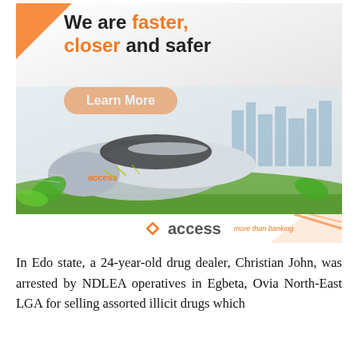[Figure (illustration): Access Bank advertisement banner featuring a silver high-speed train on green grass with a city skyline in the background. Text reads 'We are faster, closer and safer' with an orange 'Learn More' button. Access Bank logo at bottom right with tagline 'more than banking'. Orange diagonal stripe in top-left corner.]
In Edo state, a 24-year-old drug dealer, Christian John, was arrested by NDLEA operatives in Egbeta, Ovia North-East LGA for selling assorted illicit drugs which